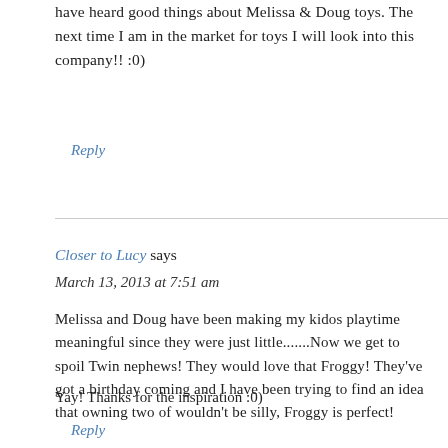have heard good things about Melissa & Doug toys. The next time I am in the market for toys I will look into this company!! :0)
Reply
Closer to Lucy says
March 13, 2013 at 7:51 am
Melissa and Doug have been making my kidos playtime meaningful since they were just little.......Now we get to spoil Twin nephews! They would love that Froggy! They've got a birthday coming and I have been trying to find an idea that owning two of wouldn't be silly, Froggy is perfect!
Yay! Thanks for the inspiration :0)
Reply